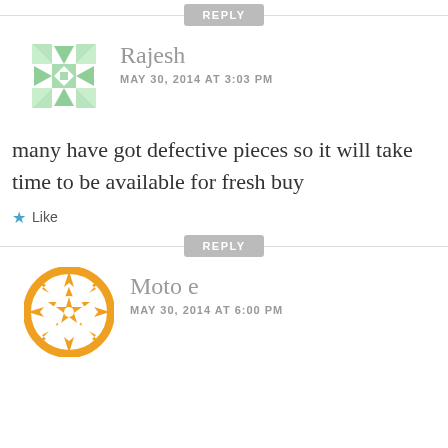[Figure (other): REPLY button bar with horizontal divider line]
[Figure (illustration): Green geometric snowflake/quilt avatar for user Rajesh]
Rajesh
MAY 30, 2014 AT 3:03 PM
many have got defective pieces so it will take time to be available for fresh buy
Like
[Figure (other): REPLY button bar with horizontal divider line]
[Figure (illustration): Orange geometric circular badge avatar for user Moto e]
Moto e
MAY 30, 2014 AT 6:00 PM